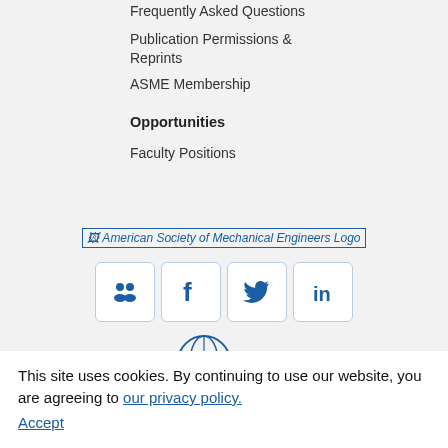Frequently Asked Questions
Publication Permissions & Reprints
ASME Membership
Opportunities
Faculty Positions
[Figure (logo): American Society of Mechanical Engineers Logo — broken image placeholder with alt text]
[Figure (infographic): Four social media icon buttons: community/members icon, Facebook (f), Twitter bird, LinkedIn (in) — each in a rounded square border, blue icons on white background]
[Figure (logo): ASME globe and letters logo watermark in blue]
This site uses cookies. By continuing to use our website, you are agreeing to our privacy policy. Accept